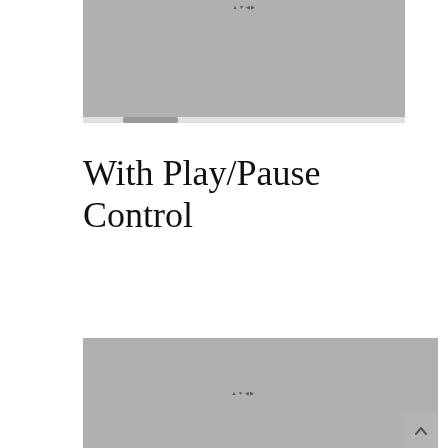[Figure (screenshot): Screenshot of a media player or carousel interface with a gray content area and a scrollbar below it]
With Play/Pause Control
[Figure (screenshot): Screenshot of a media player or carousel interface with a gray content area and a vertical scrollbar/panel on the right, with a scroll-to-top button visible]